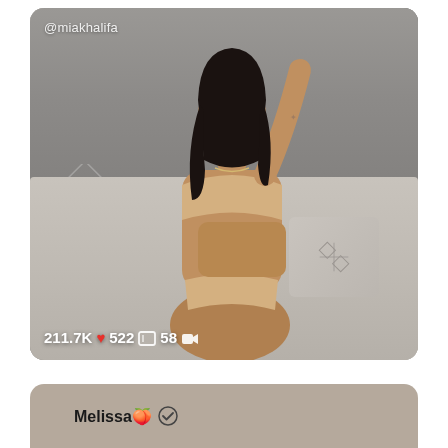[Figure (photo): Social media post card showing a person posing on a sofa, with username @miakhalifa in top-left and engagement stats 211.7K heart 522 image-icon 58 video-icon at the bottom]
211.7K ♥ 522 □ 58 ▪
Melissa🍑 ✅